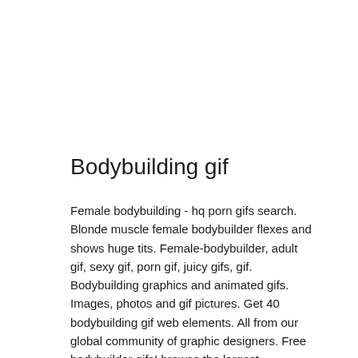Bodybuilding gif
Female bodybuilding - hq porn gifs search. Blonde muscle female bodybuilder flexes and shows huge tits. Female-bodybuilder, adult gif, sexy gif, porn gif, juicy gifs, gif. Bodybuilding graphics and animated gifs. Images, photos and gif pictures. Get 40 bodybuilding gif web elements. All from our global community of graphic designers. Free bodybuilder gifs! browse the largest collection of bodybuilder gifs on the web. Wifflegif has the awesome gifs on the internets. Fitness chick bodybuilding gifs,